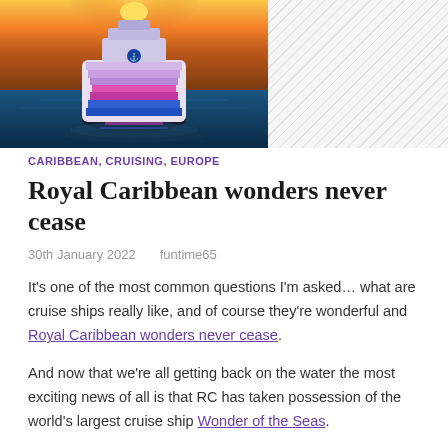[Figure (photo): Aerial view of a large Royal Caribbean cruise ship lit up in colorful lights on dark ocean water at sunset/sunrise, with orange and golden sky in background. Right side shows a hatched/grey placeholder area.]
CARIBBEAN, CRUISING, EUROPE
Royal Caribbean wonders never cease
30th January 2022   funtime65
It's one of the most common questions I'm asked… what are cruise ships really like, and of course they're wonderful and Royal Caribbean wonders never cease.
And now that we're all getting back on the water the most exciting news of all is that RC has taken possession of the world's largest cruise ship Wonder of the Seas.